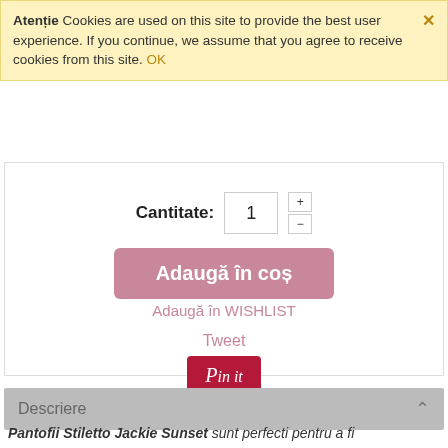Atenție  Cookies are used on this site to provide the best user experience. If you continue, we assume that you agree to receive cookies from this site. OK
Cantitate: 1
Adaugă în coș
Adaugă în WISHLIST
Tweet
[Figure (screenshot): Pinterest 'Pin it' button in dark red/crimson color]
Descriere
Pantofii Stiletto Jackie Sunset sunt perfecti pentru a fi